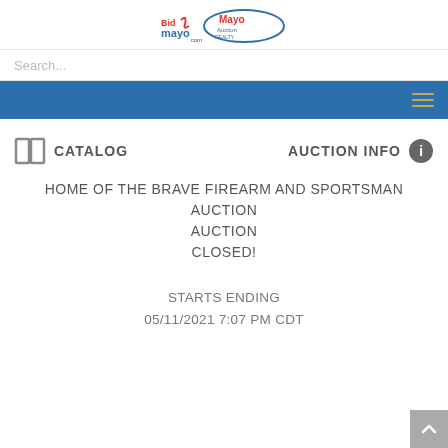[Figure (logo): BidMayo.com and Mayo Auction Realty logos side by side]
Search...
[Figure (other): Blue navigation bar with hamburger menu icon on the right]
CATALOG
AUCTION INFO
HOME OF THE BRAVE FIREARM AND SPORTSMAN AUCTION
CLOSED!
STARTS ENDING
05/11/2021 7:07 PM CDT